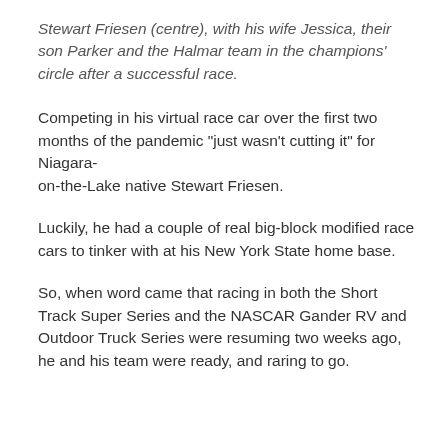Stewart Friesen (centre), with his wife Jessica, their son Parker and the Halmar team in the champions' circle after a successful race.
Competing in his virtual race car over the first two months of the pandemic “just wasn’t cutting it” for Niagara-on-the-Lake native Stewart Friesen.
Luckily, he had a couple of real big-block modified race cars to tinker with at his New York State home base.
So, when word came that racing in both the Short Track Super Series and the NASCAR Gander RV and Outdoor Truck Series were resuming two weeks ago, he and his team were ready, and raring to go.